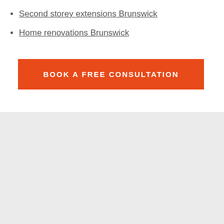Second storey extensions Brunswick
Home renovations Brunswick
[Figure (other): Orange button with text BOOK A FREE CONSULTATION]
[Figure (other): Light grey section background at the bottom of the page]